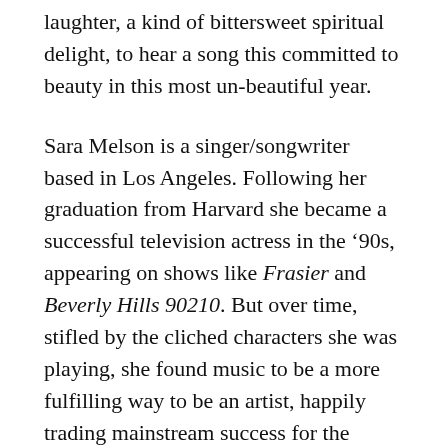laughter, a kind of bittersweet spiritual delight, to hear a song this committed to beauty in this most un-beautiful year.
Sara Melson is a singer/songwriter based in Los Angeles. Following her graduation from Harvard she became a successful television actress in the ’90s, appearing on shows like Frasier and Beverly Hills 90210. But over time, stifled by the cliched characters she was playing, she found music to be a more fulfilling way to be an artist, happily trading mainstream success for the chance to express herself authentically. (And what a better place the world might be if everyone felt this way.)
“El Matador Beach” is the first track...